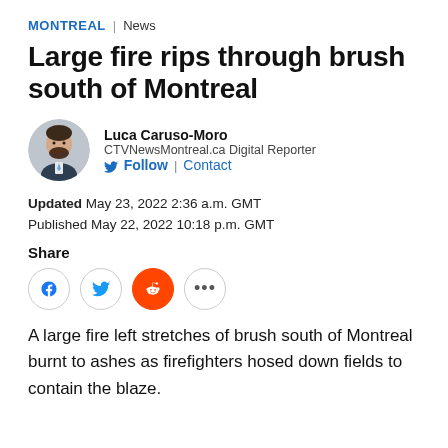MONTREAL | News
Large fire rips through brush south of Montreal
[Figure (photo): Circular headshot photo of Luca Caruso-Moro, a man with dark beard and suit]
Luca Caruso-Moro
CTVNewsMontreal.ca Digital Reporter
Follow | Contact
Updated May 23, 2022 2:36 a.m. GMT
Published May 22, 2022 10:18 p.m. GMT
Share
A large fire left stretches of brush south of Montreal burnt to ashes as firefighters hosed down fields to contain the blaze.